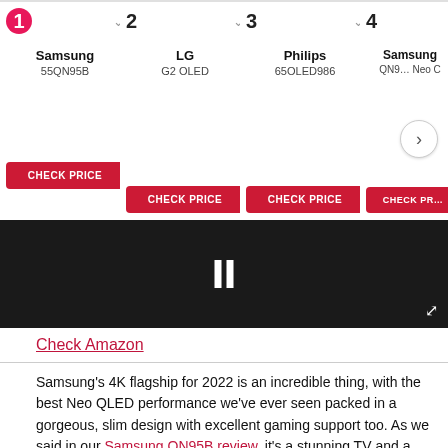[Figure (screenshot): Product comparison carousel showing 4 TV models with CHECK PRICE buttons: 1. Samsung 55QN95B, 2. LG G2 OLED, 3. Philips 65OLED986, 4. Samsung QN9x Neo (partially visible). Each card has a CHECK PRICE red button. A dark media/video area is shown below the carousel.]
Check Amazon
Samsung's 4K flagship for 2022 is an incredible thing, with the best Neo QLED performance we've ever seen packed in a gorgeous, slim design with excellent gaming support too. As we said in our Samsung QN95B review, it's a stunning TV and a major picture leap forward from its already impressive predecessor. It's also the T3 Awards winner of both Best TV 2022 and Best Gaming TV 2022.